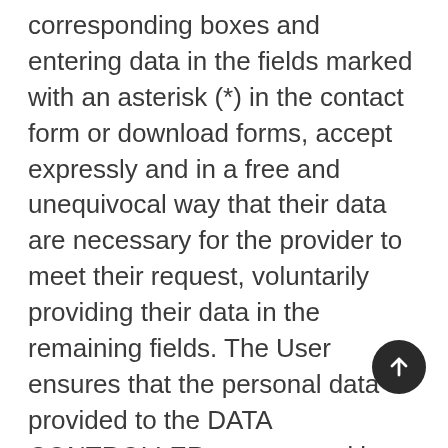corresponding boxes and entering data in the fields marked with an asterisk (*) in the contact form or download forms, accept expressly and in a free and unequivocal way that their data are necessary for the provider to meet their request, voluntarily providing their data in the remaining fields. The User ensures that the personal data provided to the DATA CONTROLLER are true and is responsible for communicating any changes to them. The DATA CONTROLLER informs and expressly ensures users that their personal data will not be transferred to third parties under any circumstances, and that whenever any type of personal data transfer is made, the express, informed and unequivocal consent of the Users will be requested in advance. All data requested through the website is mandatory, as it is necessary for the provision of an optimal